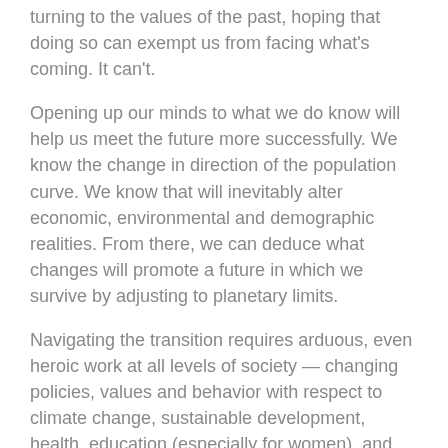turning to the values of the past, hoping that doing so can exempt us from facing what's coming. It can't.
Opening up our minds to what we do know will help us meet the future more successfully. We know the change in direction of the population curve. We know that will inevitably alter economic, environmental and demographic realities. From there, we can deduce what changes will promote a future in which we survive by adjusting to planetary limits.
Navigating the transition requires arduous, even heroic work at all levels of society — changing policies, values and behavior with respect to climate change, sustainable development, health, education (especially for women), and distribution of wealth and resources, while resisting the allure of clinging to the values of the past. This may be idealistic, but it is far from impossible.
This optimistic scenario is as evidence-based as today's widespread fear or pessimism. Humankind has demonstrated the ability to solve seemingly unsolvable